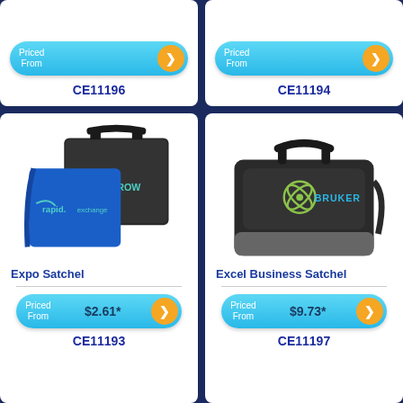[Figure (photo): Partial product card showing price button (truncated top)]
CE11196
[Figure (photo): Partial product card showing price button (truncated top)]
CE11194
[Figure (photo): Expo Satchel product image showing blue and black document satchels with branding]
Expo Satchel
Priced From $2.61*
CE11193
[Figure (photo): Excel Business Satchel product image showing black messenger bag with Bruker branding]
Excel Business Satchel
Priced From $9.73*
CE11197